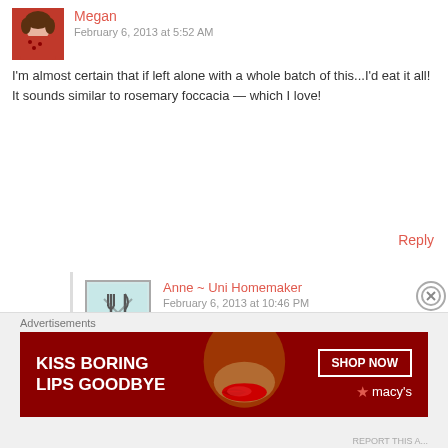Megan
February 6, 2013 at 5:52 AM
I'm almost certain that if left alone with a whole batch of this...I'd eat it all! It sounds similar to rosemary foccacia — which I love!
Reply
Anne ~ Uni Homemaker
February 6, 2013 at 10:46 PM
Hahaha... Thank goodness for neighbors or else we would have eaten this whole thing ourselves!
Advertisements
[Figure (infographic): Macy's advertisement banner: 'KISS BORING LIPS GOODBYE' with red lipstick imagery and SHOP NOW button with Macy's star logo]